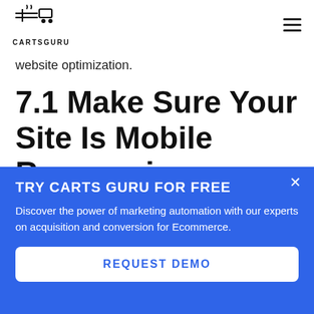CartsGuru
website optimization.
7.1 Make Sure Your Site Is Mobile Responsive
Mobile responsive designs are flexible and adapt to the screen resolutions of different
TRY CARTS GURU FOR FREE
Discover the power of marketing automation with our experts on acquisition and conversion for Ecommerce.
REQUEST DEMO